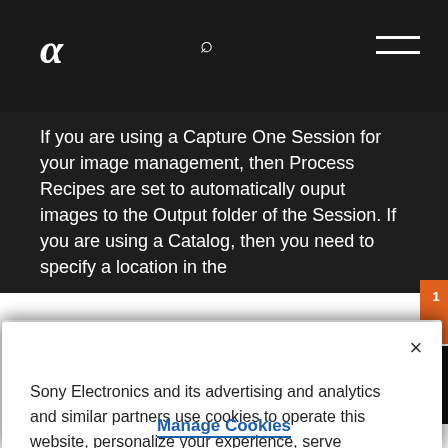α
If you are using a Capture One Session for your image management, then Process Recipes are set to automatically ouput images to the Output folder of the Session. If you are using a Catalog, then you need to specify a location in the
Sony Electronics and its advertising and analytics and similar partners use cookies to operate this website, personalize your experience, serve advertisements and/or analyze traffic. By using our site, you acknowledge this notice and agree to the use of cookies on our site and to our Privacy Policy.
Manage Cookies